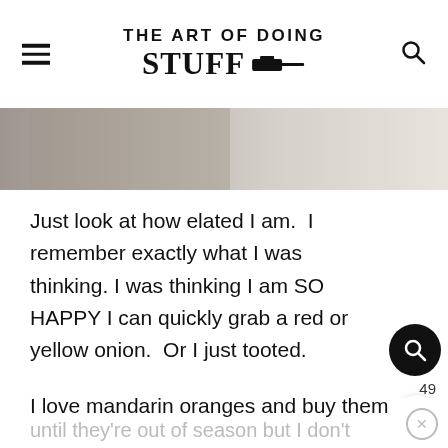THE ART OF DOING STUFF
[Figure (photo): Cropped photo of a person in a grey sweater holding greenery, with light background]
Just look at how elated I am.  I remember exactly what I was thinking. I was thinking I am SO HAPPY I can quickly grab a red or yellow onion.  Or I just tooted.
Can't really remember.
I love mandarin oranges and buy them until they're out of season but I don't